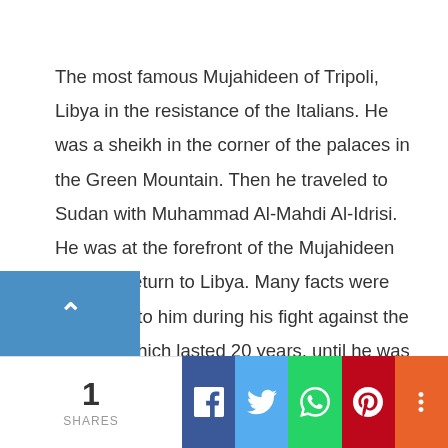The most famous Mujahideen of Tripoli, Libya in the resistance of the Italians. He was a sheikh in the corner of the palaces in the Green Mountain. Then he traveled to Sudan with Muhammad Al-Mahdi Al-Idrisi. He was at the forefront of the Mujahideen after his return to Libya. Many facts were attributed to him during his fight against the Italians, which lasted 20 years, until he was captured and imprisoned in Benghazi, then he was killed by anging in the Saluk Center in Benghazi and was
1 SHARES | Facebook | Twitter | WhatsApp | Pinterest | More